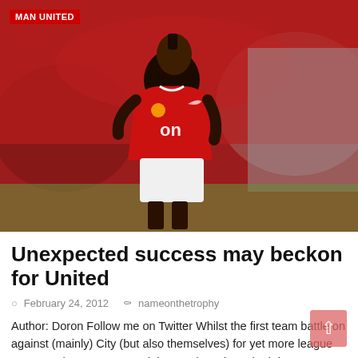[Figure (photo): Manchester United footballer in red jersey in action on the pitch]
MAN UNITED
Unexpected success may beckon for United
February 24, 2012   nameonthetrophy
Author: Doron Follow me on Twitter Whilst the first team battle on against (mainly) City (but also themselves) for yet more league success; the Reserves and the Academy have both been somewhat over-performing – depending [...]